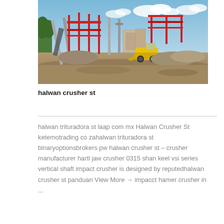[Figure (photo): Outdoor mining/crushing facility with industrial conveyor belts, red steel framework structures, a yellow bulldozer/loader, and stockpiles of aggregate material under a partly cloudy sky.]
halwan crusher st
halwan trituradora st laap com mx Halwan Crusher St ketemotrading co zahalwan trituradora st binaryoptionsbrokers pw halwan crusher st – crusher manufacturer hartl jaw crusher 0315 shan keel vsi series vertical shaft impact crusher is designed by reputedhalwan crusher st panduan View More → impacct hamer crusher in ...